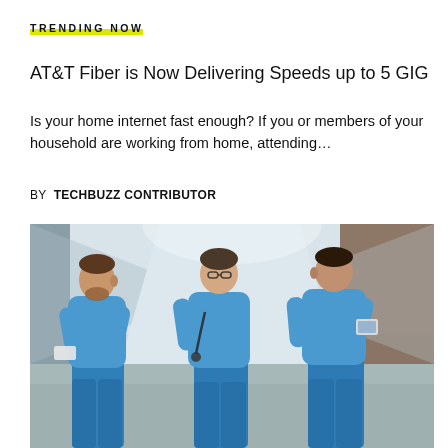TRENDING NOW
AT&T Fiber is Now Delivering Speeds up to 5 GIG
Is your home internet fast enough? If you or members of your household are working from home, attending…
BY  TECHBUZZ CONTRIBUTOR
[Figure (photo): Three healthcare workers in blue scrubs walking together down a hospital corridor. The person on the left is a man with a beard carrying papers, the center person is a woman with glasses and a stethoscope, and the right person is a man holding a tablet device.]